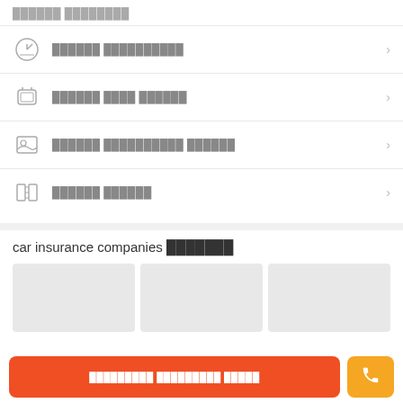██████ ████████
██████ ██████████
██████ ████ ██████
██████ ██████████ ██████
██████ ██████
car insurance companies ███████
[Figure (other): Three gray placeholder cards in a row]
█████████ █████████ █████